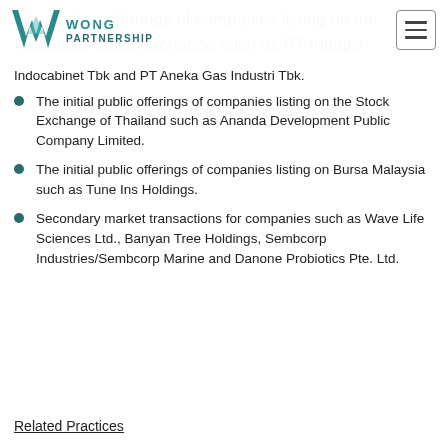Wong Partnership
initial public offerings of companies listing on the Indonesia Stock Exchange such as PT Integra Indocabinet Tbk and PT Aneka Gas Industri Tbk.
The initial public offerings of companies listing on the Stock Exchange of Thailand such as Ananda Development Public Company Limited.
The initial public offerings of companies listing on Bursa Malaysia such as Tune Ins Holdings.
Secondary market transactions for companies such as Wave Life Sciences Ltd., Banyan Tree Holdings, Sembcorp Industries/Sembcorp Marine and Danone Probiotics Pte. Ltd.
Related Practices